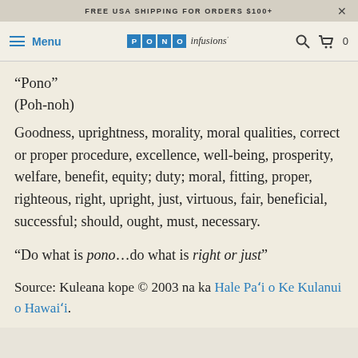FREE USA SHIPPING FOR ORDERS $100+
Menu | PONO infusions | Search | Cart 0
“Pono”
(Poh-noh)
Goodness, uprightness, morality, moral qualities, correct or proper procedure, excellence, well-being, prosperity, welfare, benefit, equity; duty; moral, fitting, proper, righteous, right, upright, just, virtuous, fair, beneficial, successful; should, ought, must, necessary.
“Do what is pono…do what is right or just”
Source: Kuleana kope © 2003 na ka Hale Pa‘i o Ke Kulanui o Hawai‘i.